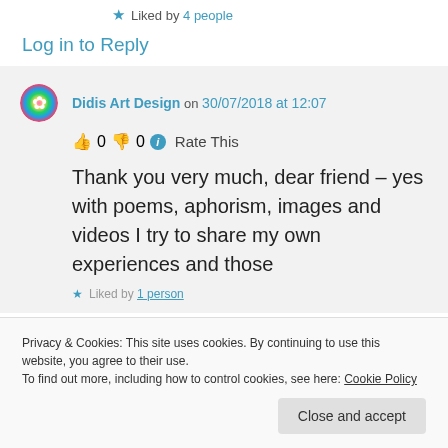★ Liked by 4 people
Log in to Reply
Didis Art Design on 30/07/2018 at 12:07
👍 0 👎 0 ℹ Rate This
Thank you very much, dear friend – yes with poems, aphorism, images and videos I try to share my own experiences and those
★ Liked by 1 person
Privacy & Cookies: This site uses cookies. By continuing to use this website, you agree to their use.
To find out more, including how to control cookies, see here: Cookie Policy
Close and accept